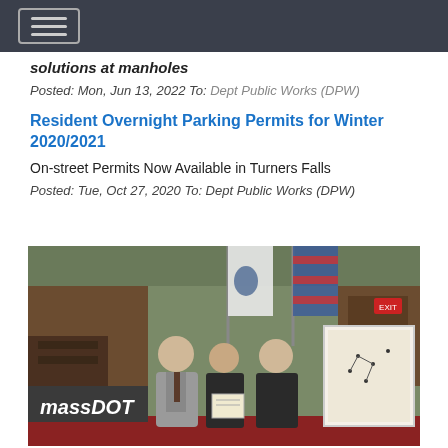solutions at manholes
Posted: Mon, Jun 13, 2022 To: Dept Public Works (DPW)
Resident Overnight Parking Permits for Winter 2020/2021
On-street Permits Now Available in Turners Falls
Posted: Tue, Oct 27, 2020 To: Dept Public Works (DPW)
[Figure (photo): Three people standing in what appears to be a government meeting room or chamber with massDOT signage, two American/Massachusetts flags in the background, holding a certificate, with a map board visible to the right.]